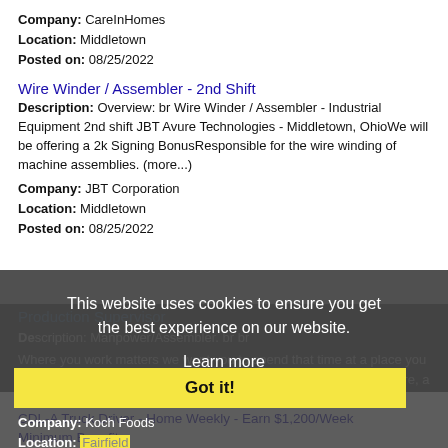Company: CareInHomes
Location: Middletown
Posted on: 08/25/2022
Wire Winder / Assembler - 2nd Shift
Description: Overview: br Wire Winder / Assembler - Industrial Equipment 2nd shift JBT Avure Technologies - Middletown, OhioWe will be offering a 2k Signing BonusResponsible for the wire winding of machine assemblies. (more...)
Company: JBT Corporation
Location: Middletown
Posted on: 08/25/2022
Production Supervisor
Description: Manpower/Assembler. br br Where you work matters we want you to spend that time at a place you like, and with friends you enjoy. br Our job offers growth for the future, a clear (more...)
Company: Koch Foods
Location: Fairfield
Posted on: 08/25/2022
[Figure (screenshot): Cookie consent overlay with text 'This website uses cookies to ensure you get the best experience on our website.' with a 'Learn more' link and a yellow 'Got it!' button]
CDL-A Truck Driver - Home Weekly - Earn $1,200/Week Minimum Benefits